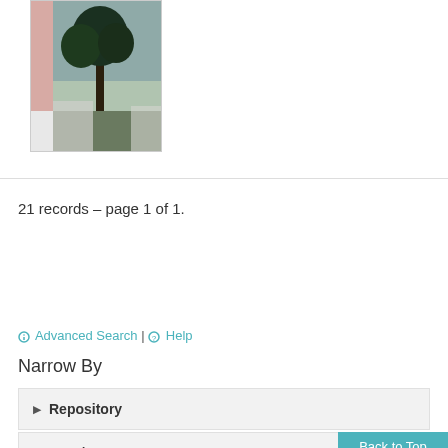[Figure (photo): Thumbnail photo showing an outdoor scene with a tree, sky, and what appears to be a garden or landscape. The image has a pink/white border on the left side.]
21 records – page 1 of 1.
« < 1 > »
"Digney family fonds"
Advanced Search | Help
Narrow By
▶ Repository
▶ Type/Format
Back to Top